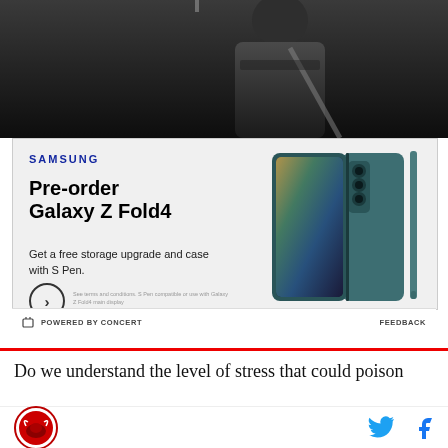[Figure (photo): Dark background image showing a partial figure/silhouette, appears to be someone in dark clothing with a strap visible]
[Figure (infographic): Samsung advertisement for Galaxy Z Fold4. Text: Pre-order Galaxy Z Fold4. Get a free storage upgrade and case with S Pen. Shows image of Galaxy Z Fold4 phone and S Pen in teal/dark green color.]
SAMSUNG
Pre-order Galaxy Z Fold4
Get a free storage upgrade and case with S Pen.
See terms and conditions. S Pen compatible or use with Galaxy Z Fold4 main display
POWERED BY CONCERT   FEEDBACK
Do we understand the level of stress that could poison